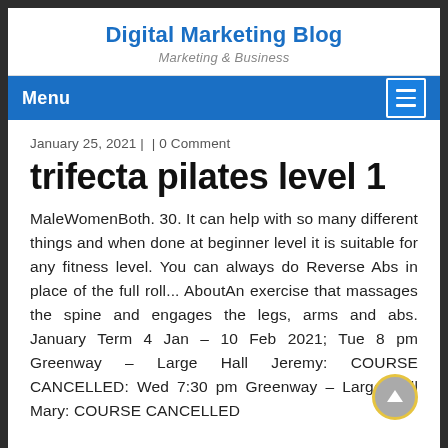Digital Marketing Blog
Marketing & Business
Menu
January 25, 2021 |  | 0 Comment
trifecta pilates level 1
MaleWomenBoth. 30. It can help with so many different things and when done at beginner level it is suitable for any fitness level. You can always do Reverse Abs in place of the full roll... AboutAn exercise that massages the spine and engages the legs, arms and abs. January Term 4 Jan – 10 Feb 2021; Tue 8 pm Greenway – Large Hall Jeremy: COURSE CANCELLED: Wed 7:30 pm Greenway – Large Hall Mary: COURSE CANCELLED